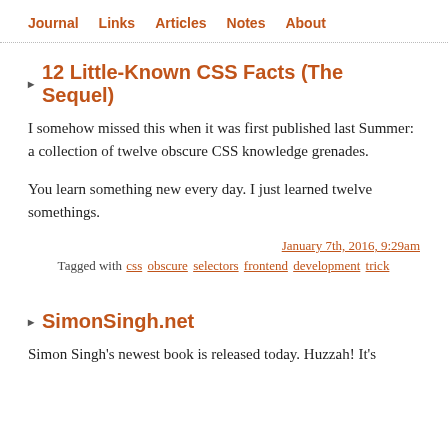Journal  Links  Articles  Notes  About
12 Little-Known CSS Facts (The Sequel)
I somehow missed this when it was first published last Summer: a collection of twelve obscure CSS knowledge grenades.
You learn something new every day. I just learned twelve somethings.
January 7th, 2016, 9:29am
Tagged with css obscure selectors frontend development trick
SimonSingh.net
Simon Singh's newest book is released today. Huzzah! It's